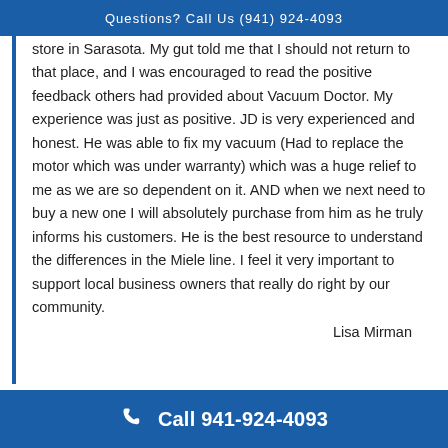Questions? Call Us (941) 924-4093
store in Sarasota. My gut told me that I should not return to that place, and I was encouraged to read the positive feedback others had provided about Vacuum Doctor. My experience was just as positive. JD is very experienced and honest. He was able to fix my vacuum (Had to replace the motor which was under warranty) which was a huge relief to me as we are so dependent on it. AND when we next need to buy a new one I will absolutely purchase from him as he truly informs his customers. He is the best resource to understand the differences in the Miele line. I feel it very important to support local business owners that really do right by our community.
Lisa Mirman
Call 941-924-4093